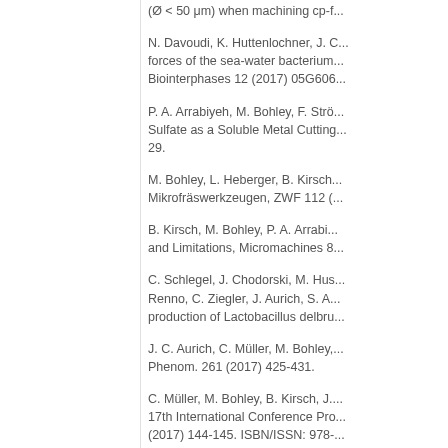(Ø < 50 μm) when machining cp-f...
N. Davoudi, K. Huttenlochner, J. C... forces of the sea-water bacterium... Biointerphases 12 (2017) 05G606...
P. A. Arrabiyeh, M. Bohley, F. Strö... Sulfate as a Soluble Metal Cutting... 29.
M. Bohley, L. Heberger, B. Kirsch... Mikrofräswerkzeugen, ZWF 112 (...
B. Kirsch, M. Bohley, P. A. Arrabi... and Limitations, Micromachines 8...
C. Schlegel, J. Chodorski, M. Hus... Renno, C. Ziegler, J. Aurich, S. A... production of Lactobacillus delbru...
J. C. Aurich, C. Müller, M. Bohley,... Phenom. 261 (2017) 425-431.
C. Müller, M. Bohley, B. Kirsch, J.... 17th International Conference Pro... (2017) 144-145. ISBN/ISSN: 978-...
M. Bohley, C. Müller, B. Kirsch, J.... control, 17th International Confe...